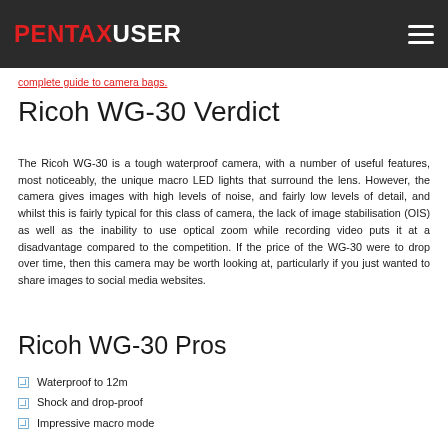PENTAXUSER
complete guide to camera bags.
Ricoh WG-30 Verdict
The Ricoh WG-30 is a tough waterproof camera, with a number of useful features, most noticeably, the unique macro LED lights that surround the lens. However, the camera gives images with high levels of noise, and fairly low levels of detail, and whilst this is fairly typical for this class of camera, the lack of image stabilisation (OIS) as well as the inability to use optical zoom while recording video puts it at a disadvantage compared to the competition. If the price of the WG-30 were to drop over time, then this camera may be worth looking at, particularly if you just wanted to share images to social media websites.
Ricoh WG-30 Pros
Waterproof to 12m
Shock and drop-proof
Impressive macro mode